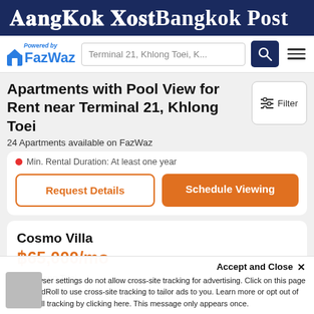Bangkok Post
[Figure (logo): FazWaz logo with 'Powered by' text and house icon]
Terminal 21, Khlong Toei, K...
Apartments with Pool View for Rent near Terminal 21, Khlong Toei
24 Apartments available on FazWaz
Min. Rental Duration: At least one year
Request Details
Schedule Viewing
Cosmo Villa
฿65,000/mo
Khlong Toei
Accept and Close ✕
Your browser settings do not allow cross-site tracking for advertising. Click on this page to allow AdRoll to use cross-site tracking to tailor ads to you. Learn more or opt out of this AdRoll tracking by clicking here. This message only appears once.